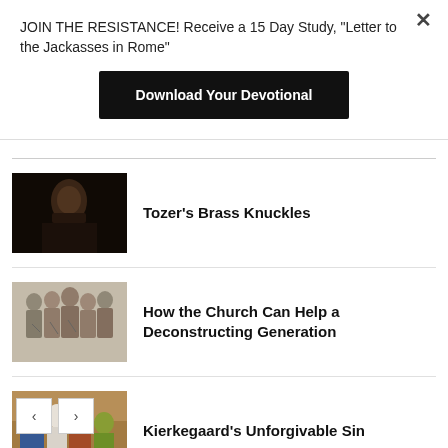JOIN THE RESISTANCE! Receive a 15 Day Study, "Letter to the Jackasses in Rome"
Download Your Devotional
[Figure (photo): Dark photo of a man, likely a historical figure, against a dark background]
Tozer's Brass Knuckles
[Figure (illustration): Black and white engraving or woodcut illustration of a group of figures]
How the Church Can Help a Deconstructing Generation
[Figure (photo): Colorful photo of people in traditional or ceremonial dress]
Kierkegaard’s Unforgivable Sin